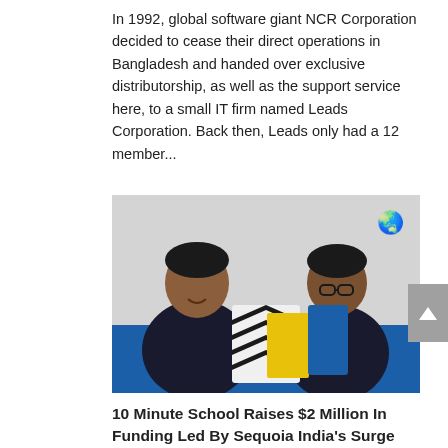In 1992, global software giant NCR Corporation decided to cease their direct operations in Bangladesh and handed over exclusive distributorship, as well as the support service here, to a small IT firm named Leads Corporation. Back then, Leads only had a 12 member...
[Figure (photo): Two young men seated on a blue couch with patterned pillows; one on the left wearing black traditional attire and smiling, one on the right wearing glasses and dark clothing, against a light gray wall.]
10 Minute School Raises $2 Million In Funding Led By Sequoia India's Surge